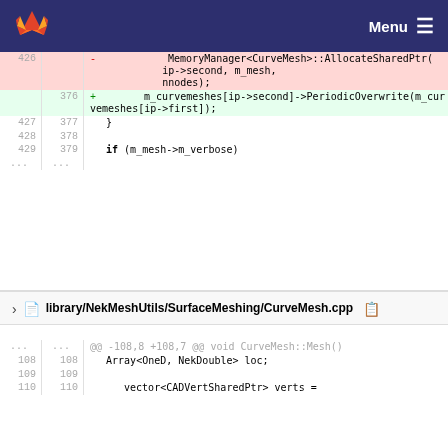Menu
[Figure (screenshot): Git diff view showing code changes. Deleted lines (red background): line 426 with 'MemoryManager<CurveMesh>::AllocateSharedPtr( ip->second, m_mesh, nnodes);'. Added lines (green background): line 376 with 'm_curvemeshes[ip->second]->PeriodicOverwrite(m_curvemeshes[ip->first]);'. Neutral lines: 427/377 '}', 428/378 empty, 429/379 'if (m_mesh->m_verbose)', then ellipsis.]
library/NekMeshUtils/SurfaceMeshing/CurveMesh.cpp
[Figure (screenshot): Second diff hunk: @@ -108,8 +108,7 @@ void CurveMesh::Mesh(). Lines 108/108: Array<OneD, NekDouble> loc;, 109/109 empty, 110/110: vector<CADVertSharedPtr> verts =]